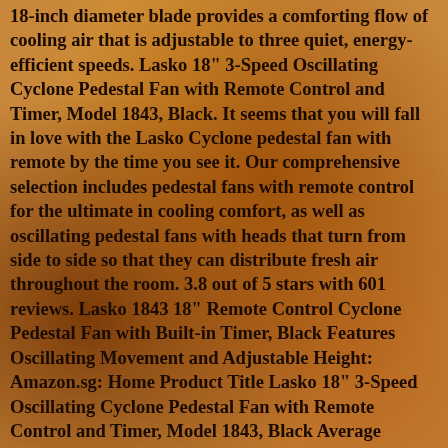18-inch diameter blade provides a comforting flow of cooling air that is adjustable to three quiet, energy-efficient speeds. Lasko 18" 3-Speed Oscillating Cyclone Pedestal Fan with Remote Control and Timer, Model 1843, Black. It seems that you will fall in love with the Lasko Cyclone pedestal fan with remote by the time you see it. Our comprehensive selection includes pedestal fans with remote control for the ultimate in cooling comfort, as well as oscillating pedestal fans with heads that turn from side to side so that they can distribute fresh air throughout the room. 3.8 out of 5 stars with 601 reviews. Lasko 1843 18" Remote Control Cyclone Pedestal Fan with Built-in Timer, Black Features Oscillating Movement and Adjustable Height: Amazon.sg: Home Product Title Lasko 18" 3-Speed Oscillating Cyclone Pedestal Fan with Remote Control and Timer, Model 1843, Black Average Rating: ( 4.3 ) out of 5 stars 1397 ratings , based on 1397 reviews Current Price $44.56 $ 44 . 601. Find many great new & used options and get the best deals for Lasko 1843 18" Remote Control Cyclone Pedestal Fan, Black at the best online prices at eBay! Find helpful customer reviews and review ratings for Lasko 1843 18"Remote Control Cyclone Pedestal Fan, Black at Amazon.com. Home Kitchen & Dining Small Kitchen Appliances Home Décor Bedding & Linen Furniture Storage & Organisation Cooling & Air Care Vacuum & Cleaning Party Supplies Lawn & Garden Kitchen & Dining Small Kitchen Appliances Read honest and unbiased product reviews from our users. Shop by Product . 105. Adjustable Height & Tilt-